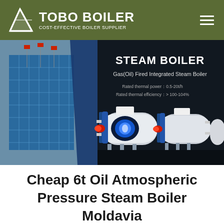TOBO BOILER — COST-EFFECTIVE BOILER SUPPLIER
[Figure (screenshot): Website banner showing Gas(Oil) Fired Integrated Steam Boiler products on dark background with text: STEAM BOILER, Gas(Oil) Fired Integrated Steam Boiler, Rated thermal power: 0.5-20t/h, Rated thermal efficiency: > 100-104%]
Cheap 6t Oil Atmospheric Pressure Steam Boiler Moldavia